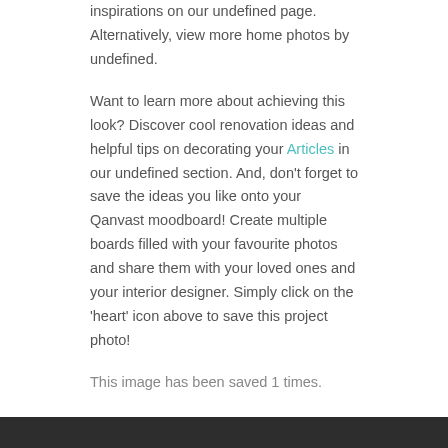inspirations on our undefined page. Alternatively, view more home photos by undefined.
Want to learn more about achieving this look? Discover cool renovation ideas and helpful tips on decorating your Articles in our undefined section. And, don't forget to save the ideas you like onto your Qanvast moodboard! Create multiple boards filled with your favourite photos and share them with your loved ones and your interior designer. Simply click on the 'heart' icon above to save this project photo!
This image has been saved 1 times.
A message from Qanvast co-founders about the strategic investment from Livspace. Read here.